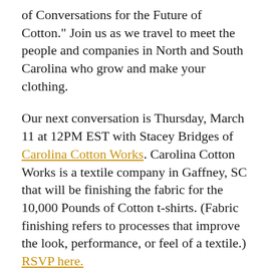of Conversations for the Future of Cotton." Join us as we travel to meet the people and companies in North and South Carolina who grow and make your clothing.
Our next conversation is Thursday, March 11 at 12PM EST with Stacey Bridges of Carolina Cotton Works. Carolina Cotton Works is a textile company in Gaffney, SC that will be finishing the fabric for the 10,000 Pounds of Cotton t-shirts. (Fabric finishing refers to processes that improve the look, performance, or feel of a textile.) RSVP here.
About Carolina Cotton Works